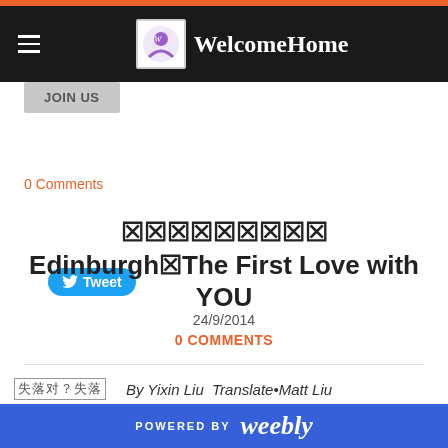WelcomeHome
JOIN US
Tweet
0 Comments
xxxxxxxxx Edinburgh•The First Love with YOU
24/9/2014
0 COMMENTS
失落 By Yixin Liu  Translate•Matt Liu
POWERED BY weebly